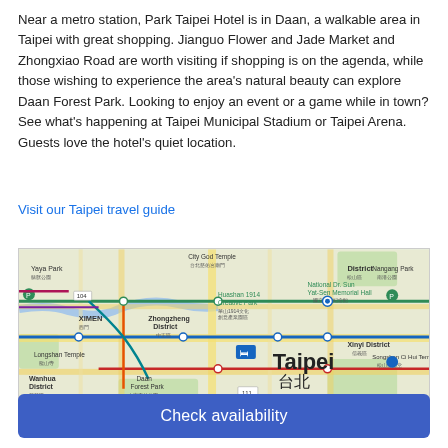Near a metro station, Park Taipei Hotel is in Daan, a walkable area in Taipei with great shopping. Jianguo Flower and Jade Market and Zhongxiao Road are worth visiting if shopping is on the agenda, while those wishing to experience the area's natural beauty can explore Daan Forest Park. Looking to enjoy an event or a game while in town? See what's happening at Taipei Municipal Stadium or Taipei Arena. Guests love the hotel's quiet location.
Visit our Taipei travel guide
[Figure (map): Google Maps view of Taipei showing Daan district, metro lines, Daan Forest Park, Xinyi District, Zhongzheng District, Wanhua District, Huashan 1914 Creative Park, National Dr. Sun Yat-Sen Memorial Hall, hotel marker, and surrounding areas.]
Check availability